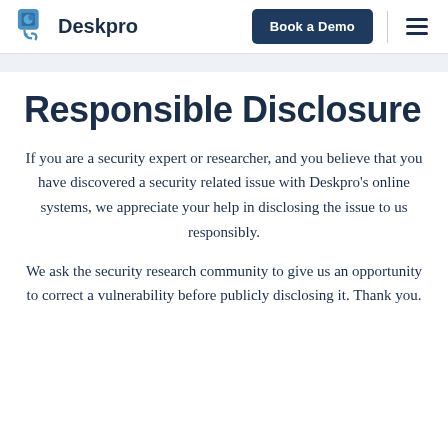Deskpro | Book a Demo
Responsible Disclosure
If you are a security expert or researcher, and you believe that you have discovered a security related issue with Deskpro's online systems, we appreciate your help in disclosing the issue to us responsibly.
We ask the security research community to give us an opportunity to correct a vulnerability before publicly disclosing it. Thank you.